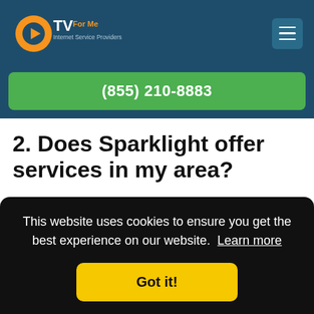TV For Me - Internet Service Providers
(855) 210-8883
2. Does Sparklight offer services in my area?
Sparklight offers comprehensive home care services to 14 states. To see if you live in one of those areas, take a look at their map here!
This website uses cookies to ensure you get the best experience on our website. Learn more
Got it!
Yes. The data you use will be limited